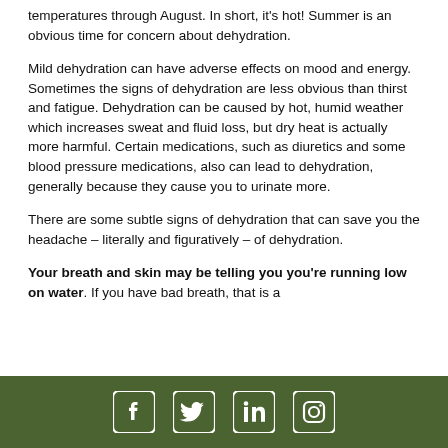temperatures through August. In short, it's hot! Summer is an obvious time for concern about dehydration.
Mild dehydration can have adverse effects on mood and energy. Sometimes the signs of dehydration are less obvious than thirst and fatigue. Dehydration can be caused by hot, humid weather which increases sweat and fluid loss, but dry heat is actually more harmful. Certain medications, such as diuretics and some blood pressure medications, also can lead to dehydration, generally because they cause you to urinate more.
There are some subtle signs of dehydration that can save you the headache – literally and figuratively – of dehydration.
Your breath and skin may be telling you you're running low on water. If you have bad breath, that is a
Social media icons: Facebook, Twitter, LinkedIn, Instagram